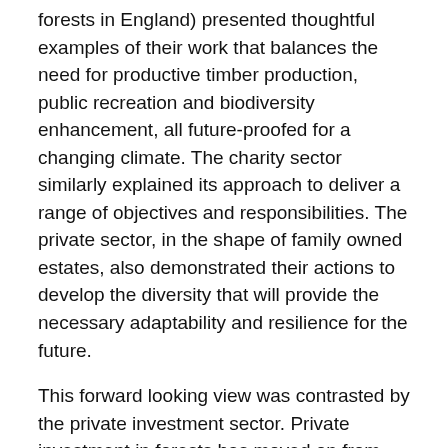forests in England) presented thoughtful examples of their work that balances the need for productive timber production, public recreation and biodiversity enhancement, all future-proofed for a changing climate. The charity sector similarly explained its approach to deliver a range of objectives and responsibilities. The private sector, in the shape of family owned estates, also demonstrated their actions to develop the diversity that will provide the necessary adaptability and resilience for the future.
This forward looking view was contrasted by the private investment sector. Private investment in forests has moved on from the stereotypical wealthy celebrity planting trees as a tax break in the 1980s and 1990s. Asset managers now cater for individuals like you and I who can buy shares in investment trusts that invest in forests. As you would expect, the asset managers have all